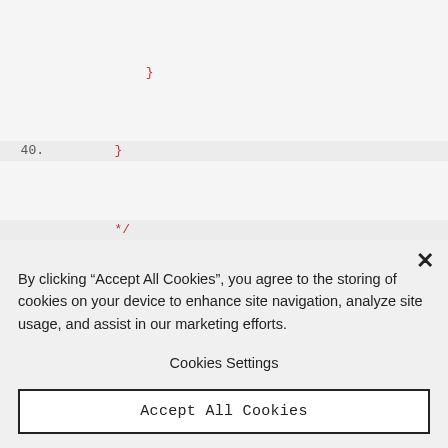[Figure (screenshot): Code editor screenshot showing lines 40 and 45 of a script. Line 40 shows closing brace and comment close. Lines 42-47 show variable declarations for lh, lv, rh using leftStick and rightStick position values, with inline comments about LeftStickHorizontal and LeftStickVertical.]
By clicking “Accept All Cookies”, you agree to the storing of cookies on your device to enhance site navigation, analyze site usage, and assist in our marketing efforts.
Cookies Settings
Accept All Cookies